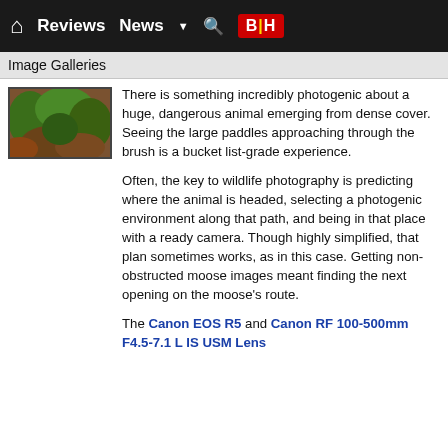Reviews  News  B|H
Image Galleries
[Figure (photo): Thumbnail image of vegetation/moose cover — dense green foliage over reddish-brown ground]
There is something incredibly photogenic about a huge, dangerous animal emerging from dense cover. Seeing the large paddles approaching through the brush is a bucket list-grade experience.
Often, the key to wildlife photography is predicting where the animal is headed, selecting a photogenic environment along that path, and being in that place with a ready camera. Though highly simplified, that plan sometimes works, as in this case. Getting non-obstructed moose images meant finding the next opening on the moose's route.
The Canon EOS R5 and Canon RF 100-500mm F4.5-7.1 L IS USM Lens